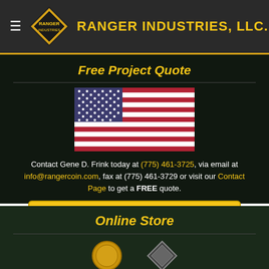RANGER INDUSTRIES, LLC.
Free Project Quote
[Figure (illustration): American flag (stars and stripes) illustration]
Contact Gene D. Frink today at (775) 461-3725, via email at info@rangercoin.com, fax at (775) 461-3729 or visit our Contact Page to get a FREE quote.
Get Your FREE Project Quote Today »
Online Store